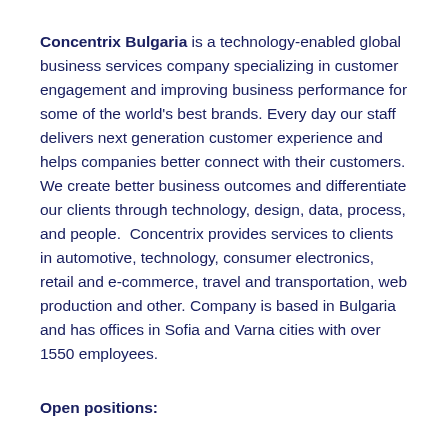Concentrix Bulgaria is a technology-enabled global business services company specializing in customer engagement and improving business performance for some of the world's best brands. Every day our staff delivers next generation customer experience and helps companies better connect with their customers. We create better business outcomes and differentiate our clients through technology, design, data, process, and people.  Concentrix provides services to clients in automotive, technology, consumer electronics, retail and e-commerce, travel and transportation, web production and other. Company is based in Bulgaria and has offices in Sofia and Varna cities with over 1550 employees.
Open positions: